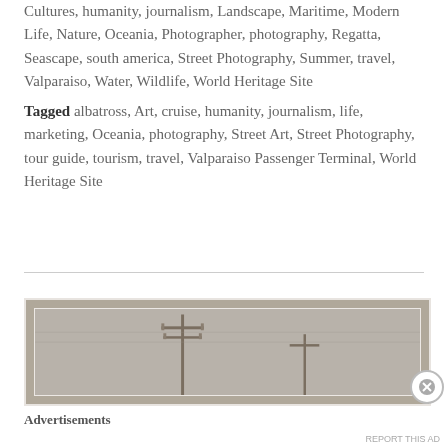Cultures, humanity, journalism, Landscape, Maritime, Modern Life, Nature, Oceania, Photographer, photography, Regatta, Seascape, south america, Street Photography, Summer, travel, Valparaiso, Water, Wildlife, World Heritage Site
Tagged albatross, Art, cruise, humanity, journalism, life, marketing, Oceania, photography, Street Art, Street Photography, tour guide, tourism, travel, Valparaiso Passenger Terminal, World Heritage Site
[Figure (photo): A photograph showing utility poles with crossarms against a grey hazy sky, within an advertisement container with a white inner border.]
Advertisements